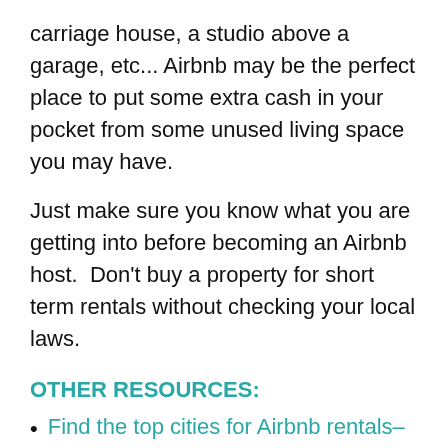carriage house, a studio above a garage, etc... Airbnb may be the perfect place to put some extra cash in your pocket from some unused living space you may have.
Just make sure you know what you are getting into before becoming an Airbnb host.  Don't buy a property for short term rentals without checking your local laws.
OTHER RESOURCES:
Find the top cities for Airbnb rentals– REALTOR.com
Is buying a vacation home a good investment? Bill Gassett
What do landlords need to know? Xavier De